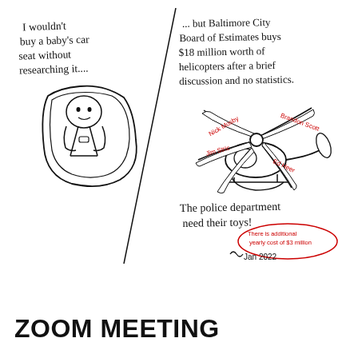[Figure (illustration): Hand-drawn political cartoon split diagonally. Left side: handwritten text 'I wouldn't buy a baby's car seat without researching it....' above a drawing of a baby in a car seat. Right side: handwritten text '... but Baltimore City Board of Estimates buys $18 million worth of helicopters after a brief discussion and no statistics.' above a drawing of a helicopter with names on its blades (including 'Brandon Scott', 'Jim Stric', 'Nick Mosby', 'Ed Heer', and partial others written in red). Below the helicopter: 'The police department need their toys!' and a red oval annotation reading 'There is additional yearly cost of $3 million'. Signed with initials and 'Jan 2022'.]
ZOOM MEETING